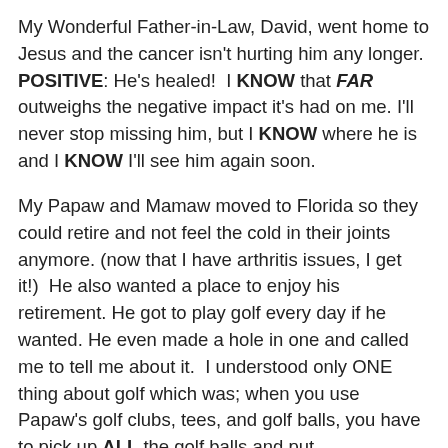My Wonderful Father-in-Law, David, went home to Jesus and the cancer isn't hurting him any longer. POSITIVE: He's healed!  I KNOW that FAR outweighs the negative impact it's had on me. I'll never stop missing him, but I KNOW where he is and I KNOW I'll see him again soon.
My Papaw and Mamaw moved to Florida so they could retire and not feel the cold in their joints anymore. (now that I have arthritis issues, I get it!)  He also wanted a place to enjoy his retirement. He got to play golf every day if he wanted. He even made a hole in one and called me to tell me about it.  I understood only ONE thing about golf which was; when you use Papaw's golf clubs, tees, and golf balls, you have to pick up ALL the golf balls and put EVERYTHING back where you found it. So when he told me that, I said, "Papaw isn't that the point? You're